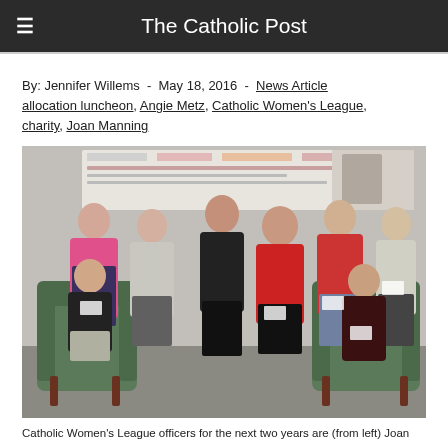The Catholic Post
By: Jennifer Willems - May 18, 2016 - News Article allocation luncheon, Angie Metz, Catholic Women's League, charity, Joan Manning
[Figure (photo): Group photo of Catholic Women's League officers posing in a room with display boards in the background. Several women are standing and two are seated in green armchairs.]
Catholic Women's League officers for the next two years are (from left) Joan